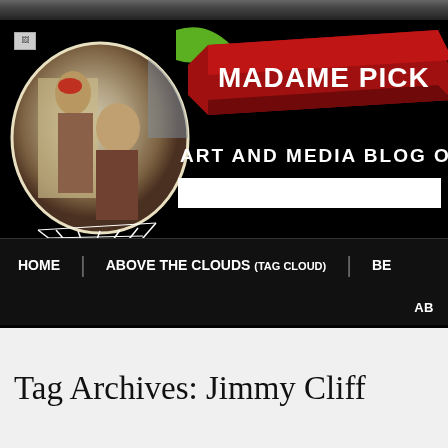[Figure (screenshot): Website header for Madame Picky blog showing a hot air balloon with classical painting, ribbon banner with site name, subtitle 'ART AND MEDIA BLOG OF', search box, navigation bar with HOME, ABOVE THE CLOUDS (TAG CLOUD), BE links, sub-navigation with AB link, and Tag Archives section at bottom]
MADAME PICK
ART AND MEDIA BLOG OF
HOME | ABOVE THE CLOUDS (TAG CLOUD) | BE
AB
Tag Archives: Jimmy Cliff